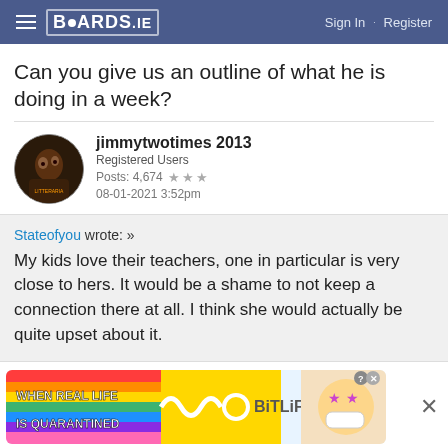BOARDS.IE  Sign In · Register
Can you give us an outline of what he is doing in a week?
jimmytwotimes 2013
Registered Users
Posts: 4,674 ★★★
08-01-2021 3:52pm
Stateofyou wrote: »
My kids love their teachers, one in particular is very close to hers. It would be a shame to not keep a connection there at all. I think she would actually be quite upset about it.
[Figure (screenshot): Advertisement banner for BitLife mobile game with rainbow background showing 'WHEN REAL LIFE IS QUARANTINED' text and BitLife logo with emoji face]